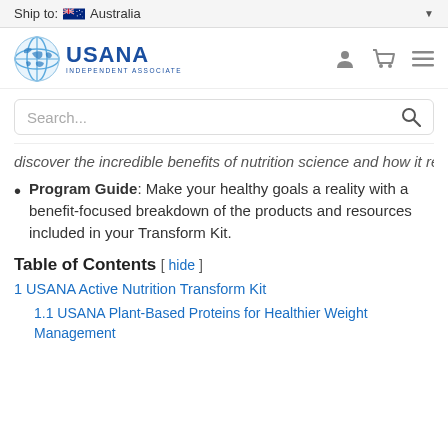Ship to: Australia
[Figure (logo): USANA Independent Associate logo with globe icon]
Search...
discover the incredible benefits of nutrition science and how it relates to gut health.
Program Guide: Make your healthy goals a reality with a benefit-focused breakdown of the products and resources included in your Transform Kit.
Table of Contents [ hide ]
1 USANA Active Nutrition Transform Kit
1.1 USANA Plant-Based Proteins for Healthier Weight Management